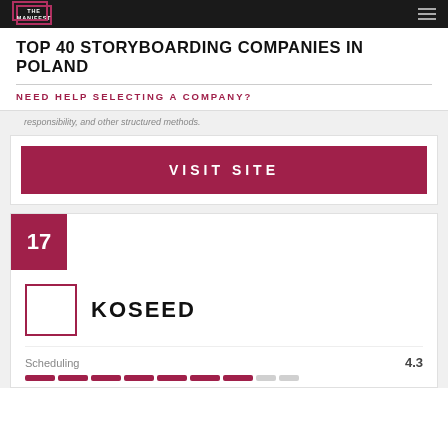THE MANIFEST
TOP 40 STORYBOARDING COMPANIES IN POLAND
NEED HELP SELECTING A COMPANY?
responsibility, and other structured methods.
VISIT SITE
17
KOSEED
Scheduling  4.3